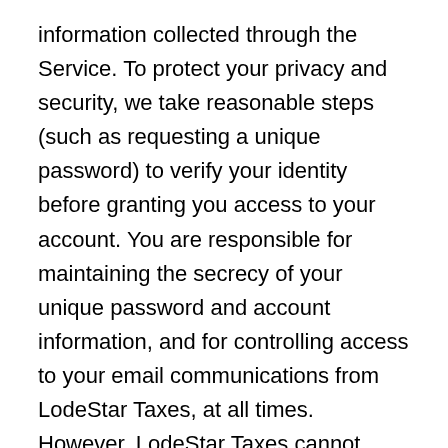information collected through the Service. To protect your privacy and security, we take reasonable steps (such as requesting a unique password) to verify your identity before granting you access to your account. You are responsible for maintaining the secrecy of your unique password and account information, and for controlling access to your email communications from LodeStar Taxes, at all times. However, LodeStar Taxes cannot ensure or warrant the security of any information you transmit to LodeStar Taxes or guarantee that information on the Service may not be accessed, disclosed, altered, or destroyed. Your privacy settings may also be affected by changes to the functionality of third party sites and services that you